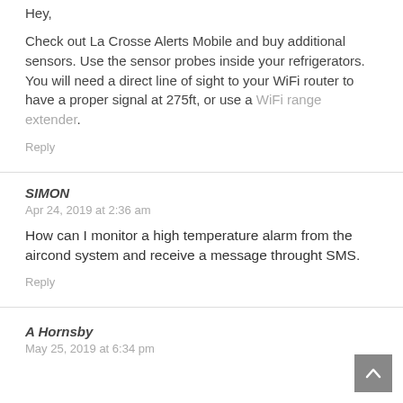Hey,
Check out La Crosse Alerts Mobile and buy additional sensors. Use the sensor probes inside your refrigerators. You will need a direct line of sight to your WiFi router to have a proper signal at 275ft, or use a WiFi range extender.
Reply
SIMON
Apr 24, 2019 at 2:36 am
How can I monitor a high temperature alarm from the aircond system and receive a message throught SMS.
Reply
A Hornsby
May 25, 2019 at 6:34 pm